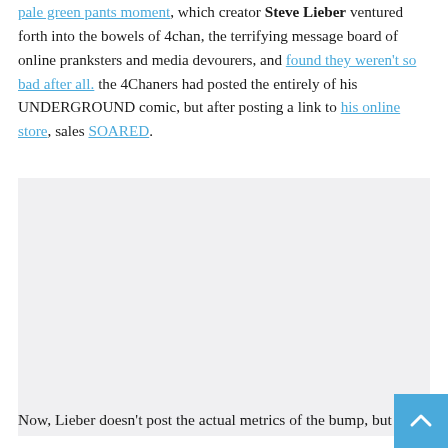...Lieber ventured forth into the bowels of 4chan, the terrifying message board of online pranksters and media devourers, and found they weren't so bad after all. the 4Chaners had posted the entirely of his UNDERGROUND comic, but after posting a link to his online store, sales SOARED.
[Figure (other): A light gray rectangular placeholder image area]
Now, Lieber doesn't post the actual metrics of the bump, but it